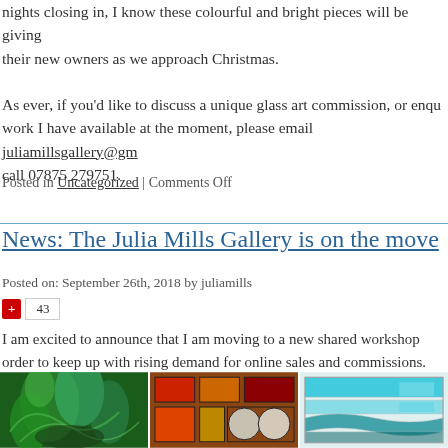nights closing in, I know these colourful and bright pieces will be giving joy to their new owners as we approach Christmas.
As ever, if you'd like to discuss a unique glass art commission, or enquire about work I have available at the moment, please email juliamillsgallery@gmail.com or call 07875 279751.
Posted in Uncategorized | Comments Off
News: The Julia Mills Gallery is on the move
Posted on: September 26th, 2018 by juliamills
43
I am excited to announce that I am moving to a new shared workshop space in order to keep up with rising demand for online sales and commissions.
[Figure (photo): Three stained glass artwork panels side by side: left panel shows green leafy design, middle panel shows red and amber geometric/round shapes, right panel shows teal/blue wave patterns.]